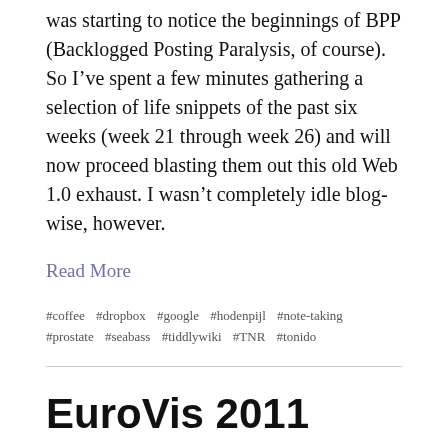was starting to notice the beginnings of BPP (Backlogged Posting Paralysis, of course). So I’ve spent a few minutes gathering a selection of life snippets of the past six weeks (week 21 through week 26) and will now proceed blasting them out this old Web 1.0 exhaust. I wasn’t completely idle blog-wise, however.
Read More
#coffee  #dropbox  #google  #hodenpijl  #note-taking  #prostate  #seabass  #tiddlywiki  #TNR  #tonido
EuroVis 2011